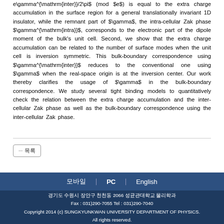e\gamma^{\mathrm{inter}}/2\pi$ (mod $e$) is equal to the extra charge accumulation in the surface region for a general translationally invariant 1D insulator, while the remnant part of $\gamma$, the intra-cellular Zak phase $\gamma^{\mathrm{intra}}$, corresponds to the electronic part of the dipole moment of the bulk's unit cell. Second, we show that the extra charge accumulation can be related to the number of surface modes when the unit cell is inversion symmetric. This bulk-boundary correspondence using $\gamma^{\mathrm{inter}}$ reduces to the conventional one using $\gamma$ when the real-space origin is at the inversion center. Our work thereby clarifies the usage of $\gamma$ in the bulk-boundary correspondence. We study several tight binding models to quantitatively check the relation between the extra charge accumulation and the inter-cellular Zak phase as well as the bulk-boundary correspondence using the inter-cellular Zak phase.
모바일 | PC | English
경기도 수원시 장안구 천천동 2066 성균관대학교 물리학과
Fax : 031)290-7055 Tel : 031)290-7040
Copyright 2014 (c) SUNGKYUNKWAN UNIVERSITY DEPARTMENT OF PHYSICS. All rights reserved.